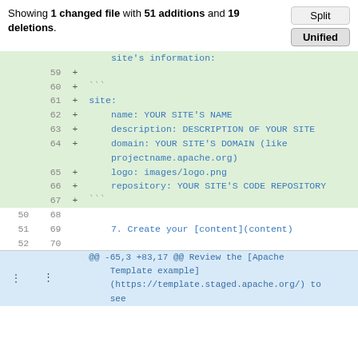Showing 1 changed file with 51 additions and 19 deletions.
[Figure (screenshot): Git diff view showing added lines (59-67) with green background and context lines (50-52, 68-70), plus an expand row for @@ -65,3 +83,17 @@ hunk header]
@@ -65,3 +83,17 @@ Review the [Apache Template example](https://template.staged.apache.org/) to see